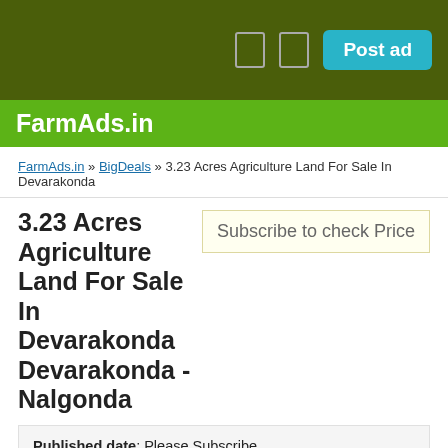Post ad
FarmAds.in
FarmAds.in » BigDeals » 3.23 Acres Agriculture Land For Sale In Devarakonda
3.23 Acres Agriculture Land For Sale In Devarakonda Devarakonda - Nalgonda
Subscribe to check Price
Published date: Please Subscribe
Location: Devarakonda - Nalgonda, Telangana, India
Want to see the whole ad and contact info?
Get subscribed to display price, full description, publish date & contact info!
Login!